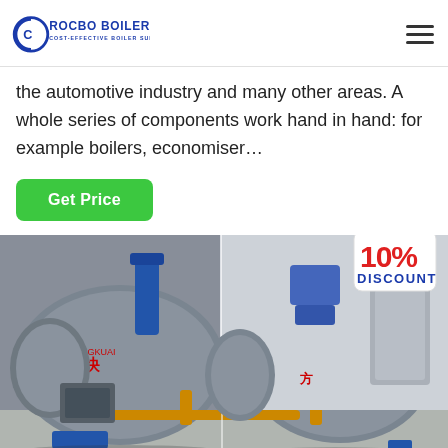ROCBO BOILER — COST-EFFECTIVE BOILER SUPPLIER
the automotive industry and many other areas. A whole series of components work hand in hand: for example boilers, economiser…
Get Price
[Figure (photo): Industrial boilers in a factory setting showing large cylindrical boilers with Chinese text markings, blue, orange/yellow and red piping, and associated equipment. A 10% DISCOUNT badge is overlaid in the top right corner.]